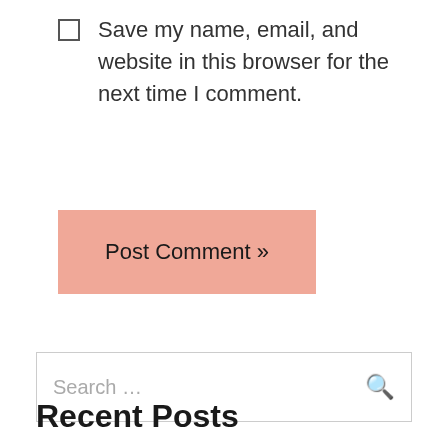Save my name, email, and website in this browser for the next time I comment.
Post Comment »
Search …
Recent Posts